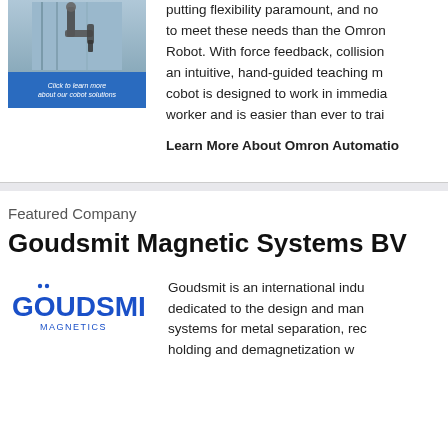[Figure (photo): Photo of a robot arm/cobot in an industrial setting with a blue banner below reading 'Click to learn more about our cobot solutions']
putting flexibility paramount, and no to meet these needs than the Omron Robot. With force feedback, collision an intuitive, hand-guided teaching m cobot is designed to work in immedia worker and is easier than ever to trai
Learn More About Omron Automatio
Featured Company
Goudsmit Magnetic Systems BV
[Figure (logo): Goudsmit Magnetics logo in blue with 'GOUDSMIT' in large bold letters and 'MAGNETICS' below]
Goudsmit is an international indu dedicated to the design and man systems for metal separation, rec holding and demagnetization w